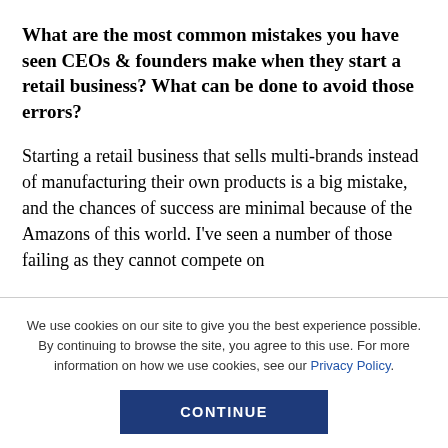What are the most common mistakes you have seen CEOs & founders make when they start a retail business? What can be done to avoid those errors?
Starting a retail business that sells multi-brands instead of manufacturing their own products is a big mistake, and the chances of success are minimal because of the Amazons of this world. I've seen a number of those failing as they cannot compete on
We use cookies on our site to give you the best experience possible. By continuing to browse the site, you agree to this use. For more information on how we use cookies, see our Privacy Policy.
CONTINUE